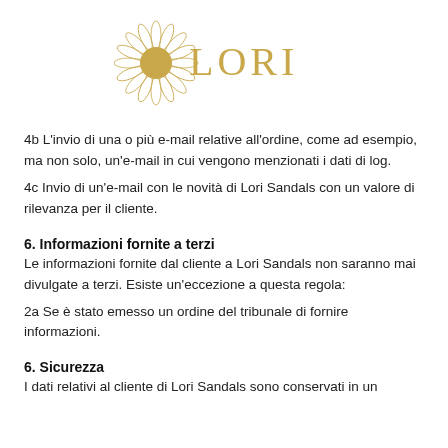[Figure (logo): Lori Sandals logo: a daisy/sunflower illustration with a gold center beside the word LORI in gold serif letters]
4b L'invio di una o più e-mail relative all'ordine, come ad esempio, ma non solo, un'e-mail in cui vengono menzionati i dati di log.
4c Invio di un'e-mail con le novità di Lori Sandals con un valore di rilevanza per il cliente.
6. Informazioni fornite a terzi
Le informazioni fornite dal cliente a Lori Sandals non saranno mai divulgate a terzi. Esiste un'eccezione a questa regola:
2a Se è stato emesso un ordine del tribunale di fornire informazioni.
6. Sicurezza
I dati relativi al cliente di Lori Sandals sono conservati in un